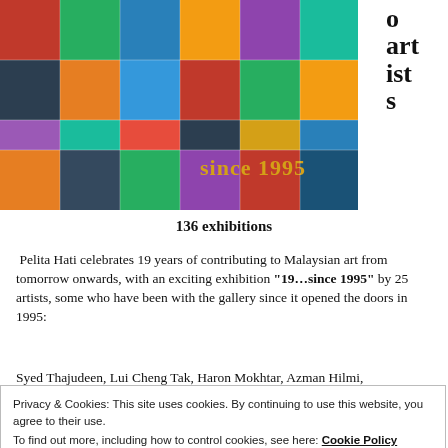[Figure (photo): Colorful collage of artwork exhibition posters and images, with 'since 1995' text visible in gold on the right side]
o artists
136 exhibitions
Pelita Hati celebrates 19 years of contributing to Malaysian art from tomorrow onwards, with an exciting exhibition "19…since 1995" by 25 artists, some who have been with the gallery since it opened the doors in 1995:
Syed Thajudeen, Lui Cheng Tak, Haron Mokhtar, Azman Hilmi, Hadi Salleh, Jamil Mat Isa, Jack Tian, Azwan Ramit Ahmadilla
Privacy & Cookies: This site uses cookies. By continuing to use this website, you agree to their use.
To find out more, including how to control cookies, see here: Cookie Policy
Close and accept
Zainuddin Abindinhazir, Ramlan Abdullah